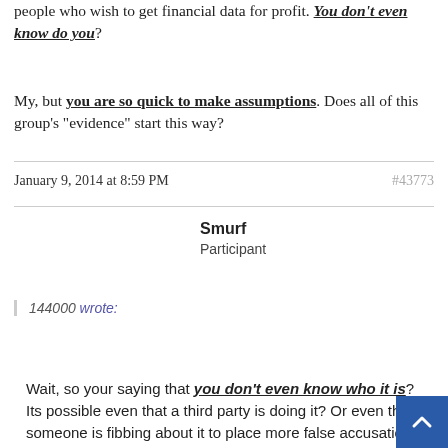people who wish to get financial data for profit. You don't even know do you?
My, but you are so quick to make assumptions. Does all of this group's "evidence" start this way?
January 9, 2014 at 8:59 PM
#43773
Smurf
Participant
144000 wrote:
Wait, so your saying that you don't even know who it is? Its possible even that a third party is doing it? Or even that someone is fibbing about it to place more false accusations at our feet? Even